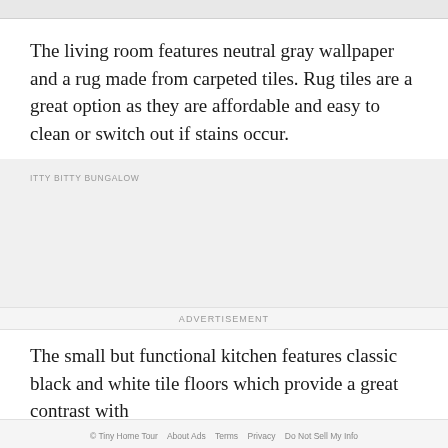The living room features neutral gray wallpaper and a rug made from carpeted tiles. Rug tiles are a great option as they are affordable and easy to clean or switch out if stains occur.
ITTY BITTY BUNGALOW
ADVERTISEMENT
The small but functional kitchen features classic black and white tile floors which provide a great contrast with
© Tiny Home Tour   About Ads   Terms   Privacy   Do Not Sell My Info